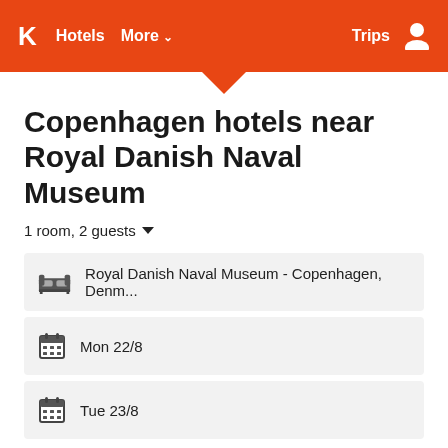K  Hotels  More ∨  Trips  [user icon]
Copenhagen hotels near Royal Danish Naval Museum
1 room, 2 guests ∨
Royal Danish Naval Museum - Copenhagen, Denm...
Mon 22/8
Tue 23/8
Search